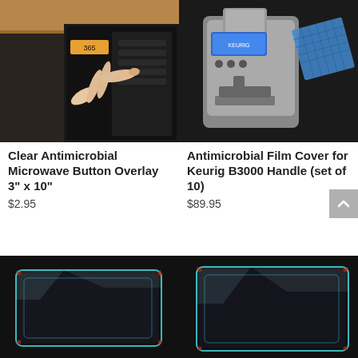[Figure (photo): Hand pointing at microwave control panel buttons]
Clear Antimicrobial Microwave Button Overlay 3" x 10"
$2.95
[Figure (photo): Keurig B3000 coffee machine with antimicrobial film overlay shown separately]
Antimicrobial Film Cover for Keurig B3000 Handle (set of 10)
$89.95
[Figure (photo): Clear antimicrobial film sheet on dark background]
[Figure (photo): Clear antimicrobial film sheet on dark background, slightly different size]